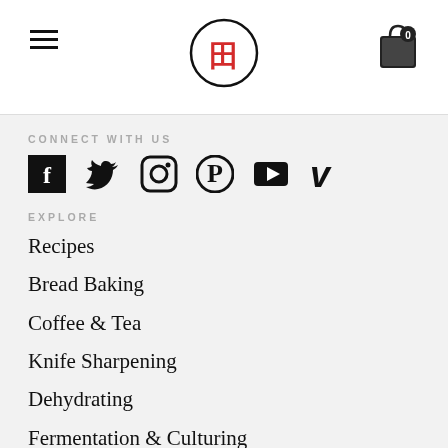Navigation header with hamburger menu, logo, and cart icon
CONNECT WITH US
[Figure (infographic): Social media icons row: Facebook, Twitter, Instagram, Pinterest, YouTube, Vimeo]
EXPLORE
Recipes
Bread Baking
Coffee & Tea
Knife Sharpening
Dehydrating
Fermentation & Culturing
SHOP